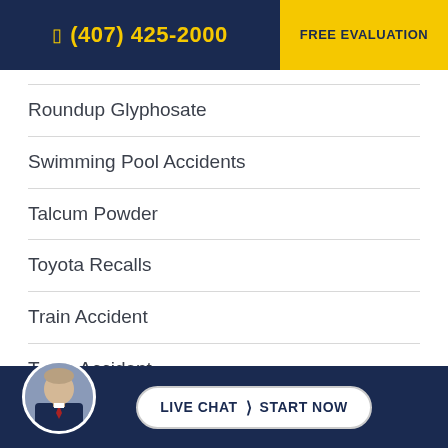(407) 425-2000  FREE EVALUATION
Roundup Glyphosate
Swimming Pool Accidents
Talcum Powder
Toyota Recalls
Train Accident
Truck Accident
Trucking Accident
U-Turn Accident
Wrongful Death
LIVE CHAT  START NOW